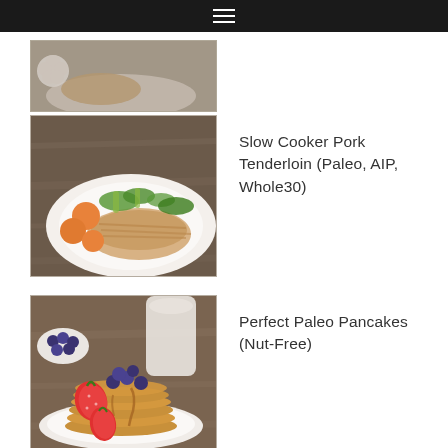☰ (navigation menu)
[Figure (photo): Partial view of a food photo at top of page — appears to show a white plate with food on a wooden surface, partially cropped]
[Figure (photo): Slow cooker pork tenderloin served on a white plate with carrots, celery, and greens on a dark wooden table]
Slow Cooker Pork Tenderloin (Paleo, AIP, Whole30)
[Figure (photo): Stack of golden paleo pancakes topped with blueberries and strawberries on a white plate, with a cream pitcher and bowl of blueberries in background]
Perfect Paleo Pancakes (Nut-Free)